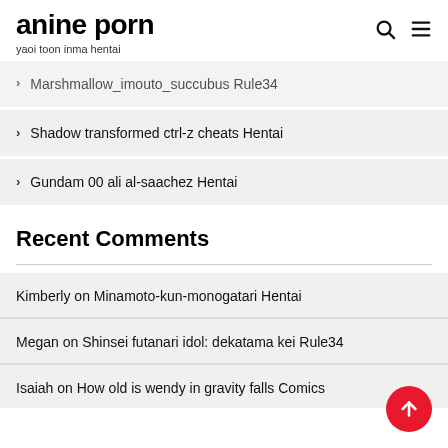anine porn
yaoi toon inma hentai
Marshmallow_imouto_succubus Rule34
Shadow transformed ctrl-z cheats Hentai
Gundam 00 ali al-saachez Hentai
Recent Comments
Kimberly on Minamoto-kun-monogatari Hentai
Megan on Shinsei futanari idol: dekatama kei Rule34
Isaiah on How old is wendy in gravity falls Comics